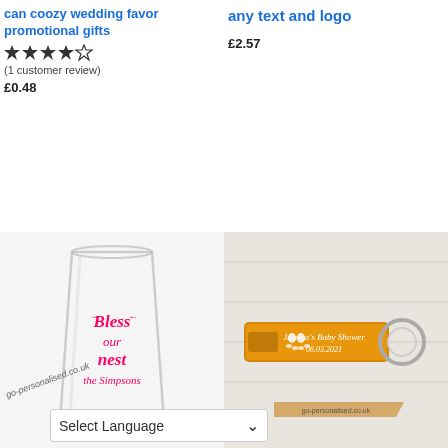can coozy wedding favor promotional gifts
★★★★☆
(1 customer review)
£0.48
any text and logo
£2.57
[Figure (photo): Shot glass with pink cursive text reading 'Bless our nest the Simpsons' with go-personalised.co.uk watermark]
[Figure (photo): Gold/orange bottle opener keyring engraved with baby footprints and text 'Jessica's Baby Shower 06.03.2021', with go-personalised.co.uk watermark tag]